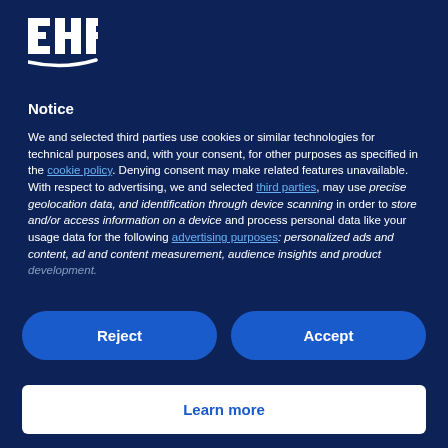[Figure (logo): EHF logo — white letters E, H, F with a white underline swoosh on dark navy background]
Notice
We and selected third parties use cookies or similar technologies for technical purposes and, with your consent, for other purposes as specified in the cookie policy. Denying consent may make related features unavailable.
With respect to advertising, we and selected third parties, may use precise geolocation data, and identification through device scanning in order to store and/or access information on a device and process personal data like your usage data for the following advertising purposes: personalized ads and content, ad and content measurement, audience insights and product development.
Reject
Accept
Learn more